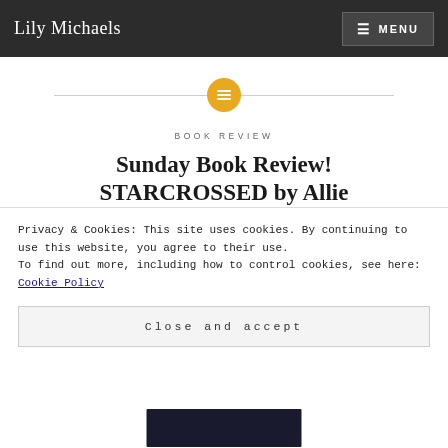Lily Michaels | MENU
[Figure (other): Decorative divider with golden circle icon containing a list/menu symbol, flanked by horizontal lines]
BOOK REVIEW
Sunday Book Review! STARCROSSED by Allie
Privacy & Cookies: This site uses cookies. By continuing to use this website, you agree to their use.
To find out more, including how to control cookies, see here: Cookie Policy
Close and accept